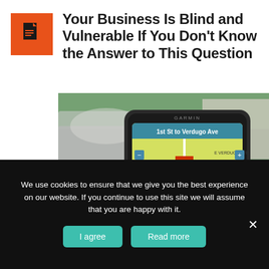[Figure (logo): Orange square icon with a document/file symbol in dark color]
Your Business Is Blind and Vulnerable If You Don't Know the Answer to This Question
[Figure (photo): A Garmin GPS device mounted in a car showing navigation to '1st St to Verdugo Ave', with traffic visible through the windshield in the background]
We use cookies to ensure that we give you the best experience on our website. If you continue to use this site we will assume that you are happy with it.
I agree
Read more